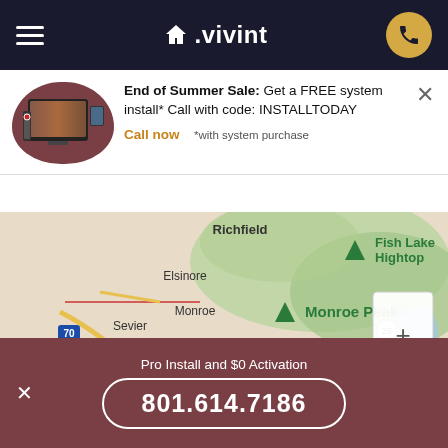≡  △.vivint  [phone icon]
End of Summer Sale: Get a FREE system install* Call with code: INSTALLTODAY
Call now   *with system purchase
[Figure (map): Google Maps view showing Richfield, Elsinore, Monroe, Sevier, Fish Lake Hightop, Monroe Peak, Koosharem, Fremont, Marysvale area in Utah. Includes zoom controls (+/-). Map data ©2022 Google.]
Pro Install and $0 Activation
801.614.7186